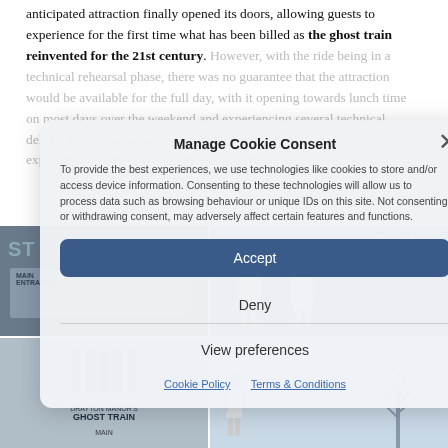anticipated attraction finally opened its doors, allowing guests to experience for the first time what has been billed as the ghost train reinvented for the 21st century. However, with the ride being in a technical rehearsal phase, there was no guarantee that the attraction would be available for the full day, with it opening towards lunch time on most days over the weekend and experiencing several technical delays, something which is only to be expected whilst the ride experience is perfected and any issues ironed out.
[Figure (photo): Photo grid of Ghost Train attraction: top-left shows ghost train signage, top-right shows two staff members in white uniforms, bottom-left shows the Ghost Train building facade, bottom-right shows a bare tree against sky]
Manage Cookie Consent
To provide the best experiences, we use technologies like cookies to store and/or access device information. Consenting to these technologies will allow us to process data such as browsing behaviour or unique IDs on this site. Not consenting or withdrawing consent, may adversely affect certain features and functions.
Accept
Deny
View preferences
Cookie Policy   Terms & Conditions